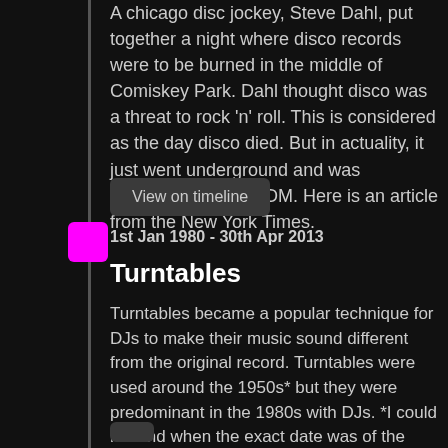A chicago disc jockey, Steve Dahl, put together a night where disco records were to be burned in the middle of Comiskey Park. Dahl thought disco was a threat to rock 'n' roll. This is considered as the day disco died. But in actuality, it just went underground and was "repackaged' into EDM. Here is an article from the New York Times.
View on timeline
1st Jan 1980 - 30th Apr 2013
Turntables
Turntables became a popular technique for DJs to make their music sound different from the original record. Turntables were used around the 1950s* but they were predominant in the 1980s with DJs. *I could not find when the exact date was of the invention of turntables but it seemed like they were invented around the 1950s.
View on timeline